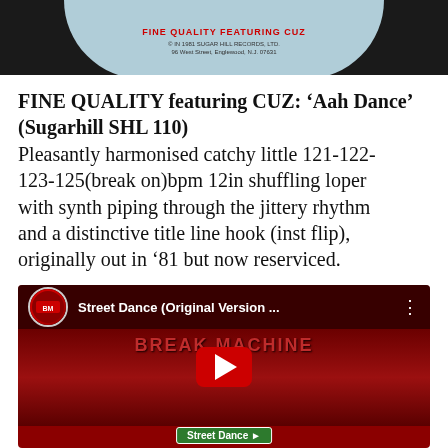[Figure (photo): Top portion of a vinyl record label showing 'FINE QUALITY FEATURING CUZ' in red text on a light blue/grey circular label, on a dark background. Text includes '© IN 1981 SUGAR HILL RECORDS, LTD. 96 West Street, Englewood, N.J. 07631']
FINE QUALITY featuring CUZ: ‘Aah Dance’ (Sugarhill SHL 110) Pleasantly harmonised catchy little 121-122-123-125(break on)bpm 12in shuffling loper with synth piping through the jittery rhythm and a distinctive title line hook (inst flip), originally out in ’81 but now reserviced.
[Figure (screenshot): YouTube video thumbnail for 'Street Dance (Original Version ...' by Break Machine. Shows three men in red jackets dancing/posing on a street. A YouTube play button (red rounded rectangle with white triangle) is centered. At the top a dark bar shows the channel thumbnail and video title. At the bottom a green street sign reads 'Street Dance'.]